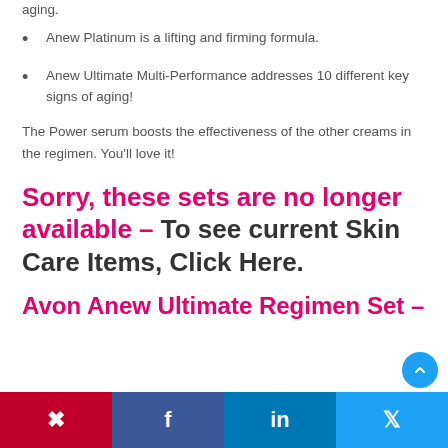aging.
Anew Platinum is a lifting and firming formula.
Anew Ultimate Multi-Performance addresses 10 different key signs of aging!
The Power serum boosts the effectiveness of the other creams in the regimen. You'll love it!
Sorry, these sets are no longer available – To see current Skin Care Items, Click Here.
Avon Anew Ultimate Regimen Set –